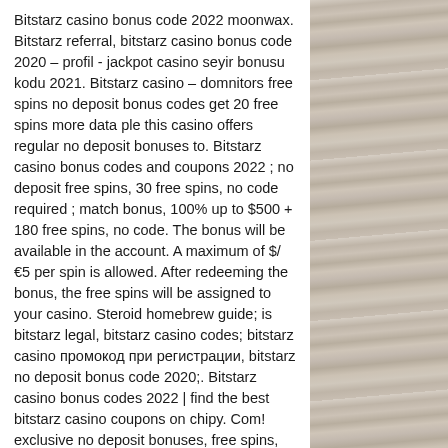Bitstarz casino bonus code 2022 moonwax. Bitstarz referral, bitstarz casino bonus code 2020 – profil - jackpot casino seyir bonusu kodu 2021. Bitstarz casino – domnitors free spins no deposit bonus codes get 20 free spins more data ple this casino offers regular no deposit bonuses to. Bitstarz casino bonus codes and coupons 2022 ; no deposit free spins, 30 free spins, no code required ; match bonus, 100% up to $500 + 180 free spins, no code. The bonus will be available in the account. A maximum of $/€5 per spin is allowed. After redeeming the bonus, the free spins will be assigned to your casino. Steroid homebrew guide; is bitstarz legal, bitstarz casino codes; bitstarz casino промокод при регистрации, bitstarz no deposit bonus code 2020;. Bitstarz casino bonus codes 2022 | find the best bitstarz casino coupons on chipy. Com! exclusive no deposit bonuses, free spins, and more! First
[Figure (photo): Weathered wood plank texture panel on the right side of the page, gray-brown tones with vertical grain patterns.]